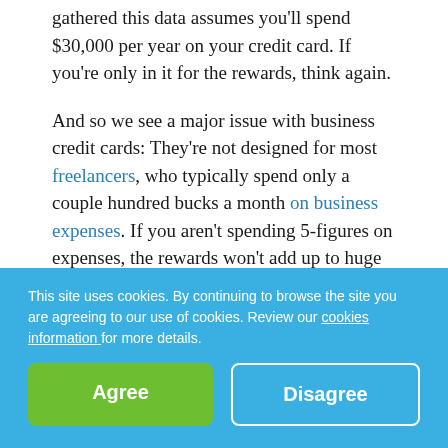gathered this data assumes you'll spend $30,000 per year on your credit card. If you're only in it for the rewards, think again.
And so we see a major issue with business credit cards: They're not designed for most freelancers, who typically spend only a couple hundred bucks a month on business expenses. If you aren't spending 5-figures on expenses, the rewards won't add up to huge financial gains.
The Reasons Why You Should Really Use Business Credit Cards
And so don't rely on cash back bonuses or rewards as a major driver, but you can still benefit from using credit cards for work. Here are some
This site uses cookies. By continuing to browse the site you are agreeing to our use of cookies. Review our cookies information for more details.